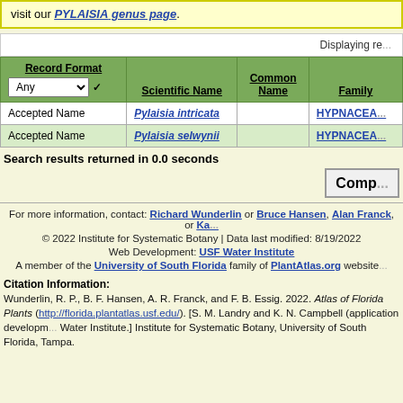visit our PYLAISIA genus page.
Displaying re...
| Record Format / Any ▾ | Scientific Name | Common Name | Family |
| --- | --- | --- | --- |
| Accepted Name | Pylaisia intricata |  | HYPNACEA... |
| Accepted Name | Pylaisia selwynii |  | HYPNACEA... |
Search results returned in 0.0 seconds
Comp...
For more information, contact: Richard Wunderlin or Bruce Hansen, Alan Franck, or Ka...
© 2022 Institute for Systematic Botany | Data last modified: 8/19/2022
Web Development: USF Water Institute
A member of the University of South Florida family of PlantAtlas.org website...
Citation Information:
Wunderlin, R. P., B. F. Hansen, A. R. Franck, and F. B. Essig. 2022. Atlas of Florida Plants (http://florida.plantatlas.usf.edu/). [S. M. Landry and K. N. Campbell (application develop... Water Institute.] Institute for Systematic Botany, University of South Florida, Tampa.